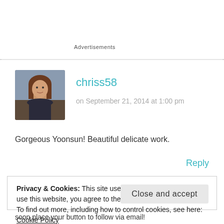Advertisements
[Figure (photo): Avatar photo of a woman with long brown hair, seated in what appears to be a restaurant setting]
chriss58
on September 21, 2014 at 1:00 pm
Gorgeous Yoonsun! Beautiful delicate work.
Reply
Privacy & Cookies: This site uses cookies. By continuing to use this website, you agree to their use.
To find out more, including how to control cookies, see here: Cookie Policy
Close and accept
soon place your button to follow via email!